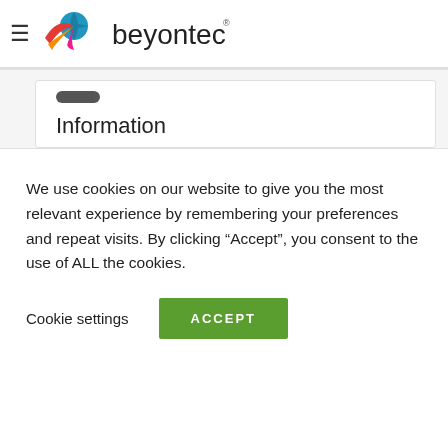[Figure (logo): Beyontec logo with colorful bird/globe icon and text 'beyontec' with registered trademark symbol]
Information
Real-time data on detailed risk exposure and the total reinsurance arrangement for certain location or region can be ascertained by just selecting all the risks in the location on a digital map.
[Figure (other): Teal circular DEMO badge]
We use cookies on our website to give you the most relevant experience by remembering your preferences and repeat visits. By clicking “Accept”, you consent to the use of ALL the cookies.